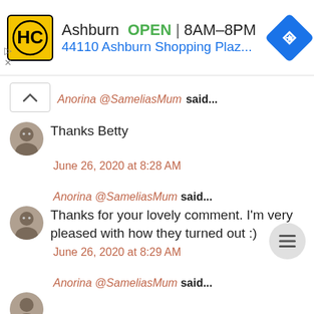[Figure (screenshot): Advertisement banner for HC (Hardware store) in Ashburn. Logo is yellow square with HC letters. Shows OPEN 8AM-8PM and address 44110 Ashburn Shopping Plaz... with a blue navigation arrow icon.]
Anorina @SameliasMum said...
Thanks Betty
June 26, 2020 at 8:28 AM
Anorina @SameliasMum said...
Thanks for your lovely comment. I'm very pleased with how they turned out :)
June 26, 2020 at 8:29 AM
Anorina @SameliasMum said...